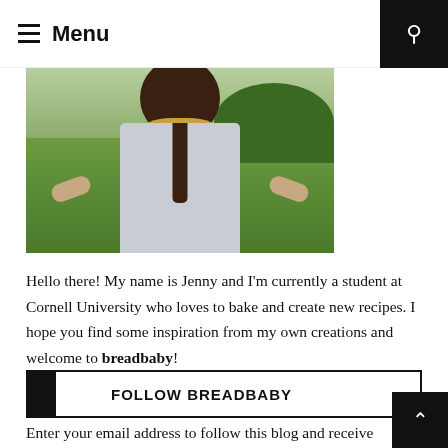Menu
[Figure (photo): A person holding a plate of baked bread/scone outdoors in a green grassy field with trees in background]
Hello there! My name is Jenny and I'm currently a student at Cornell University who loves to bake and create new recipes. I hope you find some inspiration from my own creations and welcome to breadbaby!
FOLLOW BREADBABY
Enter your email address to follow this blog and receive